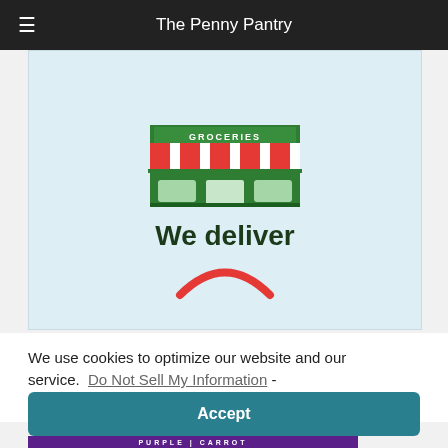The Penny Pantry
[Figure (illustration): Grocery store storefront illustration with green facade, red and white striped awning, and 'GROCERIES' text above, with store windows and door]
We deliver
[Figure (illustration): Red arc/swoosh shape at bottom of the light blue content area]
We use cookies to optimize our website and our service.  Do Not Sell My Information  -  Privacy Statement
Accept
PURPLE | CARROT